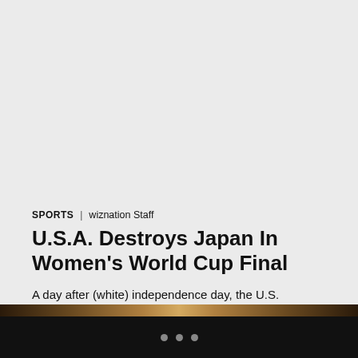[Figure (photo): Large gray/empty area at top of page, likely a photo placeholder or cropped image area]
SPORTS | wiznation Staff
U.S.A. Destroys Japan In Women's World Cup Final
A day after (white) independence day, the U.S. women's soccer team had to face Japan in the Women's World Cup Final. It wasn't much of…
[Figure (photo): Partial photo of sports scene at bottom of page]
• • •